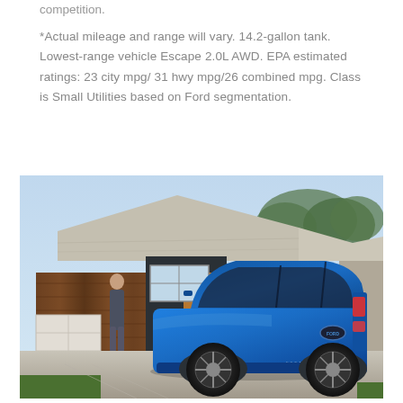competition.
*Actual mileage and range will vary. 14.2-gallon tank. Lowest-range vehicle Escape 2.0L AWD. EPA estimated ratings: 23 city mpg/ 31 hwy mpg/26 combined mpg. Class is Small Utilities based on Ford segmentation.
[Figure (photo): A blue Ford Escape SUV parked in a residential driveway in front of a modern home with wood paneling and a garage. A person stands near the garage door.]